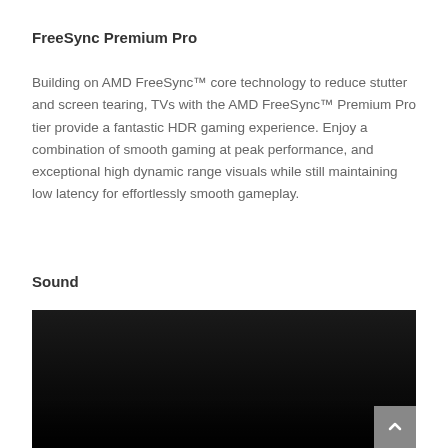FreeSync Premium Pro
Building on AMD FreeSync™ core technology to reduce stutter and screen tearing, TVs with the AMD FreeSync™ Premium Pro tier provide a fantastic HDR gaming experience. Enjoy a combination of smooth gaming at peak performance, and exceptional high dynamic range visuals while still maintaining low latency for effortlessly smooth gameplay.
Sound
[Figure (photo): Dark photograph showing a dimly lit scene, appearing to show a person or figure in very low light conditions. A scroll-to-top button is visible in the bottom-right corner.]